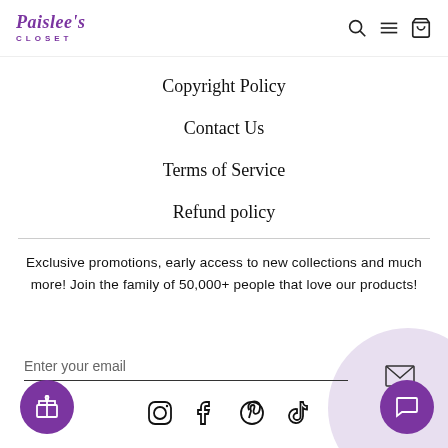Paislee's Closet
Copyright Policy
Contact Us
Terms of Service
Refund policy
Exclusive promotions, early access to new collections and much more! Join the family of 50,000+ people that love our products!
Enter your email